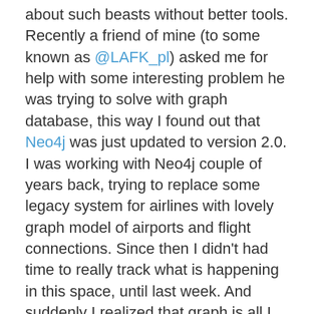about such beasts without better tools. Recently a friend of mine (to some known as @LAFK_pl) asked me for help with some interesting problem he was trying to solve with graph database, this way I found out that Neo4j was just updated to version 2.0. I was working with Neo4j couple of years back, trying to replace some legacy system for airlines with lovely graph model of airports and flight connections. Since then I didn't had time to really track what is happening in this space, until last week. And suddenly I realized that graph is all I was looking for. What if I push all the information I have about files, Maven modules, packages and such plus SCM change sets in one graph, I can ask for anything that comes to my mind? Couple minutes later I had came up with this dirty code snippet which reads data from Mercurial log and puts content of this log into Neo4j